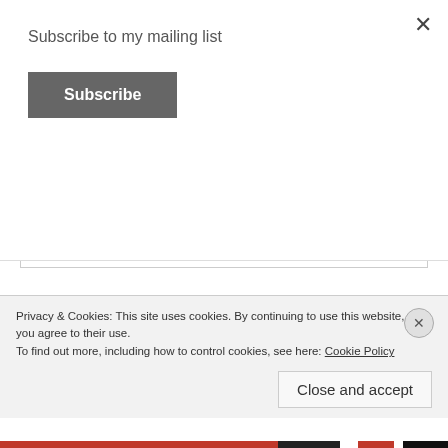Subscribe to my mailing list
Subscribe
3. Coaching & therapy at one of the best facilities in the world for athletic excellence
4. My cooking and baking skills
5. God’s grace.
6. Support from my sponsors, family and friends towards the attainment of my athletics’ goals
7. A stranger’s smile.
Privacy & Cookies: This site uses cookies. By continuing to use this website, you agree to their use.
To find out more, including how to control cookies, see here: Cookie Policy
Close and accept